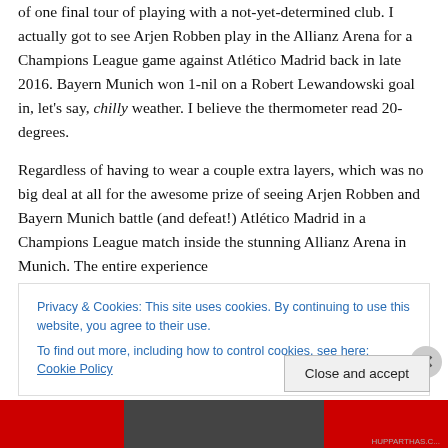of one final tour of playing with a not-yet-determined club. I actually got to see Arjen Robben play in the Allianz Arena for a Champions League game against Atlético Madrid back in late 2016. Bayern Munich won 1-nil on a Robert Lewandowski goal in, let's say, chilly weather. I believe the thermometer read 20-degrees.
Regardless of having to wear a couple extra layers, which was no big deal at all for the awesome prize of seeing Arjen Robben and Bayern Munich battle (and defeat!) Atlético Madrid in a Champions League match inside the stunning Allianz Arena in Munich. The entire experience
Privacy & Cookies: This site uses cookies. By continuing to use this website, you agree to their use. To find out more, including how to control cookies, see here: Cookie Policy
Close and accept